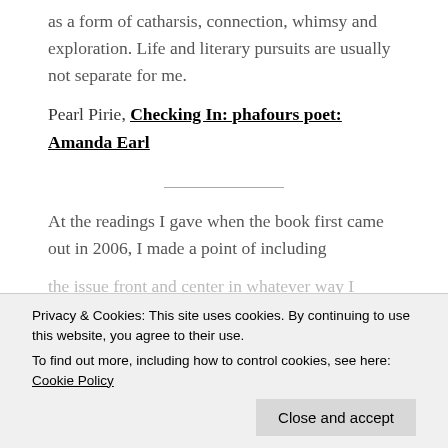as a form of catharsis, connection, whimsy and exploration. Life and literary pursuits are usually not separate for me.
Pearl Pirie, Checking In: phafours poet: Amanda Earl
At the readings I gave when the book first came out in 2006, I made a point of including
Privacy & Cookies: This site uses cookies. By continuing to use this website, you agree to their use. To find out more, including how to control cookies, see here: Cookie Policy
the issue front and center in whatever way I